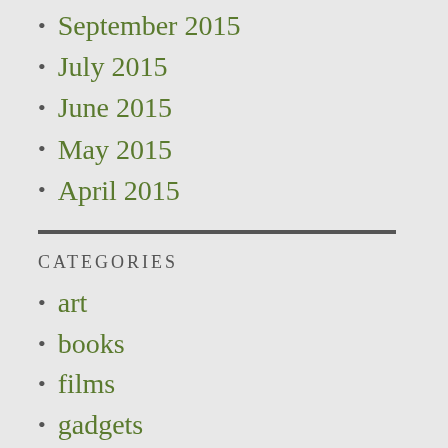September 2015
July 2015
June 2015
May 2015
April 2015
CATEGORIES
art
books
films
gadgets
images
Music
musings